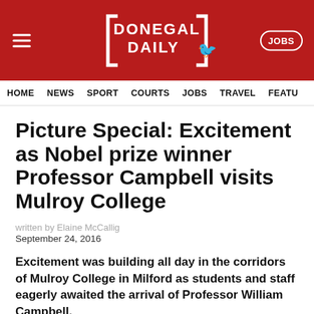DONEGAL DAILY
HOME  NEWS  SPORT  COURTS  JOBS  TRAVEL  FEATU
Picture Special: Excitement as Nobel prize winner Professor Campbell visits Mulroy College
written by Elaine McCallig
September 24, 2016
Excitement was building all day in the corridors of Mulroy College in Milford as students and staff eagerly awaited the arrival of Professor William Campbell.
Professor Campbell was awarded a quarter